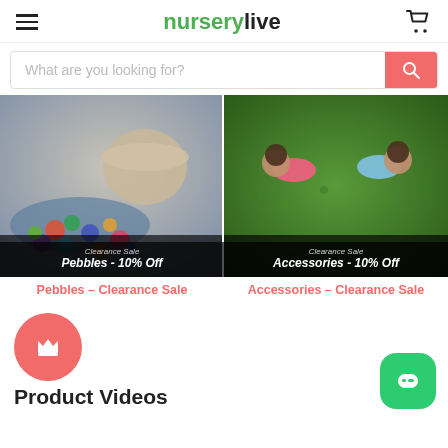nurserylive
What are you looking for?
[Figure (photo): Pebbles clearance sale product image showing colorful pebbles spilling from a pot with overlay text: Clearance Sale / Pebbles - 10% Off]
Pebbles - Clearance Sale
[Figure (photo): Accessories clearance sale product image showing miniature figurines on green moss with overlay text: Clearance Sale / Accessories - 10% Off]
Accessories - Clearance Sale
[Figure (logo): Red circle with crown icon above Product Videos label]
Product Videos
[Figure (illustration): Green rounded square chat bubble icon]